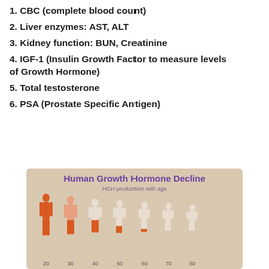1. CBC (complete blood count)
2. Liver enzymes: AST, ALT
3. Kidney function: BUN, Creatinine
4. IGF-1 (Insulin Growth Factor to measure levels of Growth Hormone)
5. Total testosterone
6. PSA (Prostate Specific Antigen)
[Figure (infographic): Human Growth Hormone Decline infographic showing HGH production with age. Eight human silhouettes from age 20 to 80, progressively changing from fully orange (young) to fully white (old), with partially orange lower halves at middle ages, illustrating declining HGH production. Age labels: 20, 30, 40, 50, 60, 70, 80 along the bottom.]